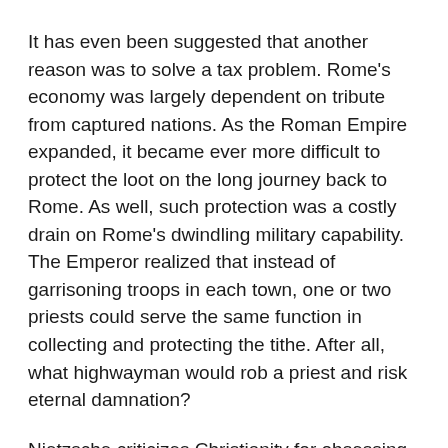It has even been suggested that another reason was to solve a tax problem. Rome's economy was largely dependent on tribute from captured nations. As the Roman Empire expanded, it became ever more difficult to protect the loot on the long journey back to Rome. As well, such protection was a costly drain on Rome's dwindling military capability. The Emperor realized that instead of garrisoning troops in each town, one or two priests could serve the same function in collecting and protecting the tithe. After all, what highwayman would rob a priest and risk eternal damnation?
Nietzsche criticizes Christianity for obsessing on other people's sins in order to feel better about oneself. Master Morality favors education and improvement in order to better oneself whereas Christian Slave Morality